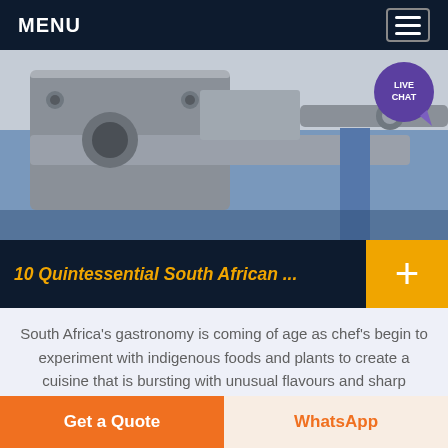MENU
[Figure (photo): Close-up photo of industrial/mechanical equipment with metal parts, bolts, and blue machinery in the background. A 'LIVE CHAT' button bubble is overlaid in the top-right corner.]
10 Quintessential South African ...
South Africa's gastronomy is coming of age as chef's begin to experiment with indigenous foods and plants to create a cuisine that is bursting with unusual flavours and sharp contrasts, and is quintessentially South African.. We've compiled a list of ten